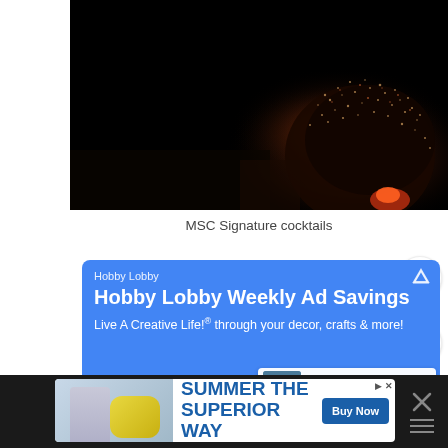[Figure (photo): Dark photograph of MSC Signature cocktails being prepared, showing sparks/fire against a black background, with a person's head visible]
MSC Signature cocktails
[Figure (screenshot): Google ad for Hobby Lobby showing 'Hobby Lobby Weekly Ad Savings - Live A Creative Life!® through your decor, crafts & more!' on a blue background, with a map showing Blue Ridge Grill location below]
[Figure (screenshot): Bottom advertisement banner: Summer The Superior Way with Buy Now button, Michelob Ultra branding, on dark background. Right side shows X close button and menu dots.]